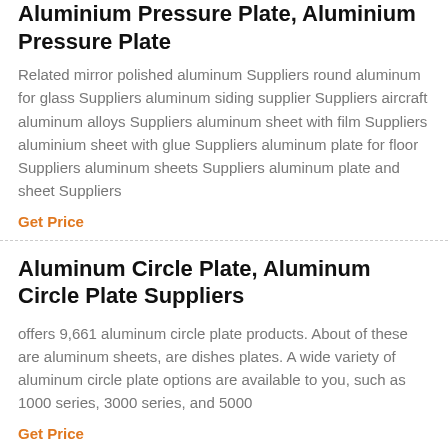Aluminium Pressure Plate, Aluminium Pressure Plate
Related mirror polished aluminum Suppliers round aluminum for glass Suppliers aluminum siding supplier Suppliers aircraft aluminum alloys Suppliers aluminum sheet with film Suppliers aluminium sheet with glue Suppliers aluminum plate for floor Suppliers aluminum sheets Suppliers aluminum plate and sheet Suppliers
Get Price
Aluminum Circle Plate, Aluminum Circle Plate Suppliers
offers 9,661 aluminum circle plate products. About of these are aluminum sheets, are dishes plates. A wide variety of aluminum circle plate options are available to you, such as 1000 series, 3000 series, and 5000
Get Price